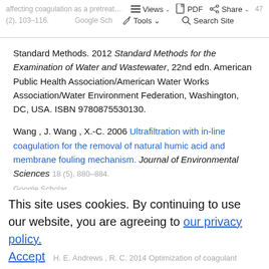affecting coagulation as a pretreatment to ultrafiltration membranes ... Views | Quality PDF | Search Journal 47 (2), 103-116. | Google Scholar | Tools | Search Site
Standard Methods. 2012 Standard Methods for the Examination of Water and Wastewater, 22nd edn. American Public Health Association/American Water Works Association/Water Environment Federation, Washington, DC, USA. ISBN 9780875530130.
Wang , J. Wang , X.-C. 2006 Ultrafiltration with in-line coagulation for the removal of natural humic acid and membrane fouling mechanism. Journal of Environmental Sciences 18 (5), 880-884.
This site uses cookies. By continuing to use our website, you are agreeing to our privacy policy. Accept
... H. E. Andrews , R. C. 2014 Optimization of coagulant ...